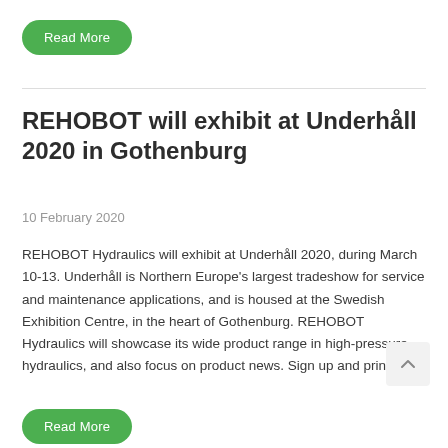Read More
REHOBOT will exhibit at Underhåll 2020 in Gothenburg
10 February 2020
REHOBOT Hydraulics will exhibit at Underhåll 2020, during March 10-13. Underhåll is Northern Europe's largest tradeshow for service and maintenance applications, and is housed at the Swedish Exhibition Centre, in the heart of Gothenburg. REHOBOT Hydraulics will showcase its wide product range in high-pressure hydraulics, and also focus on product news. Sign up and print...
Read More